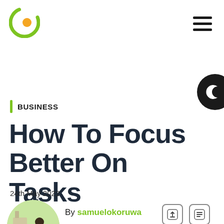[Figure (logo): Circular C logo in green and orange, website branding]
[Figure (illustration): Hamburger menu icon (three horizontal bars) top right]
[Figure (illustration): Dark mode toggle button (crescent moon icon) on right edge, partially cut off]
BUSINESS
How To Focus Better On Tasks
24th May 2022
[Figure (photo): Circular author photo of Samuel Okoruwa outdoors]
By samuelokoruwa